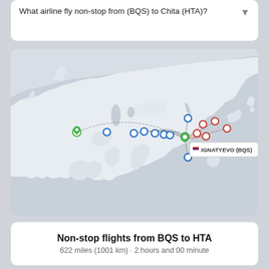What airline fly non-stop from (BQS) to Chita (HTA)?
[Figure (map): Map of Russia and surrounding regions showing flight routes from Ignatyevo (BQS) airport. A green pin marks BQS (Ignatyevo) hub on the right side of Russia. Blue circle pins mark outbound destinations to the west. Red/dark circle pins mark nearby destinations. Lines arc from BQS to multiple cities. A tooltip label reads 'IGNATYEVO (BQS)'.]
Non-stop flights from BQS to HTA
622 miles (1001 km) · 2 hours and 00 minute